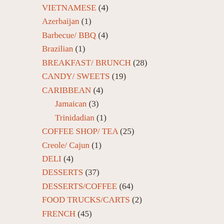VIETNAMESE (4)
Azerbaijan (1)
Barbecue/ BBQ (4)
Brazilian (1)
BREAKFAST/ BRUNCH (28)
CANDY/ SWEETS (19)
CARIBBEAN (4)
Jamaican (3)
Trinidadian (1)
COFFEE SHOP/ TEA (25)
Creole/ Cajun (1)
DELI (4)
DESSERTS (37)
DESSERTS/COFFEE (64)
FOOD TRUCKS/CARTS (2)
FRENCH (45)
Bistro (4)